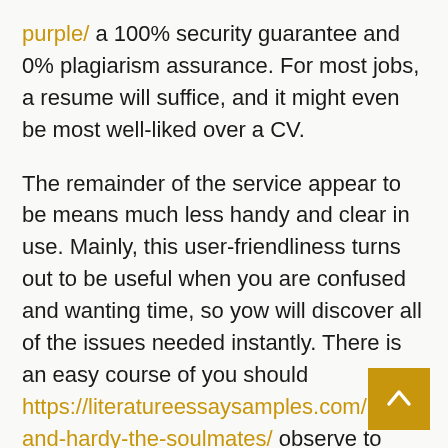purple/ a 100% security guarantee and 0% plagiarism assurance. For most jobs, a resume will suffice, and it might even be most well-liked over a CV.
The remainder of the service appear to be means much less handy and clear in use. Mainly, this user-friendliness turns out to be useful when you are confused and wanting time, so yow will discover all of the issues needed instantly. There is an easy course of you should https://literatureessaysamples.com/poe-and-hardy-the-soulmates/ observe to make your order.
At EssayUSA, you ought to use a word counter and comprehensive essay checker that permits you to detect wordy phrases, enhance your word choice, right your